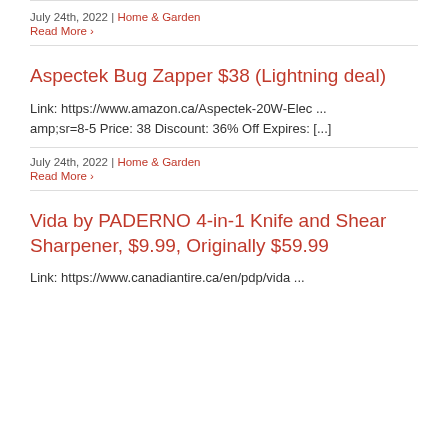July 24th, 2022 | Home & Garden
Read More >
Aspectek Bug Zapper $38 (Lightning deal)
Link: https://www.amazon.ca/Aspectek-20W-Elec ... amp;sr=8-5 Price: 38 Discount: 36% Off Expires: [...]
July 24th, 2022 | Home & Garden
Read More >
Vida by PADERNO 4-in-1 Knife and Shear Sharpener, $9.99, Originally $59.99
Link: https://www.canadiantire.ca/en/pdp/vida ...